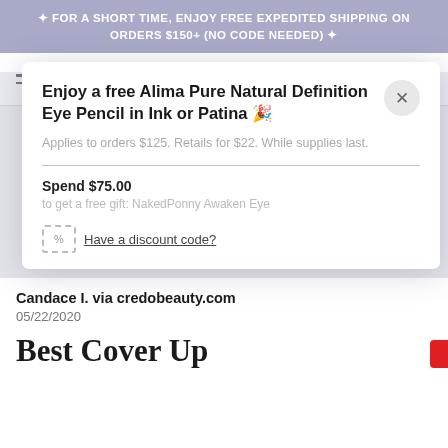✦ FOR A SHORT TIME, ENJOY FREE EXPEDITED SHIPPING ON ORDERS $150+ (NO CODE NEEDED) ✦
[Figure (screenshot): Naked Bobby website navigation bar with hamburger menu icon on left, 'NAKEDROBBY' logo in center, and shopping cart icon on right]
Enjoy a free Alima Pure Natural Definition Eye Pencil in Ink or Patina 🎉
Applies to orders $125. Retails for $22. While supplies last.
Spend $75.00
to get a free gift: NakedPonny Awaken Eye
Have a discount code?
Candace I. via credobeauty.com
05/22/2020
Best Cover Up